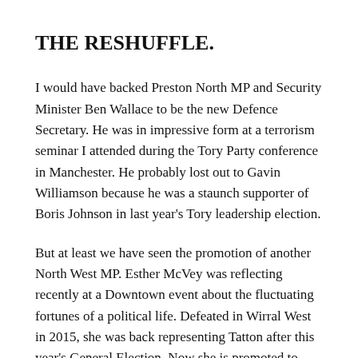THE RESHUFFLE.
I would have backed Preston North MP and Security Minister Ben Wallace to be the new Defence Secretary. He was in impressive form at a terrorism seminar I attended during the Tory Party conference in Manchester. He probably lost out to Gavin Williamson because he was a staunch supporter of Boris Johnson in last year's Tory leadership election.
But at least we have seen the promotion of another North West MP. Esther McVey was reflecting recently at a Downtown event about the fluctuating fortunes of a political life. Defeated in Wirral West in 2015, she was back representing Tatton after this year's General Election. Now she is promoted to Deputy Chief Whip, a key post in a hung parliament where